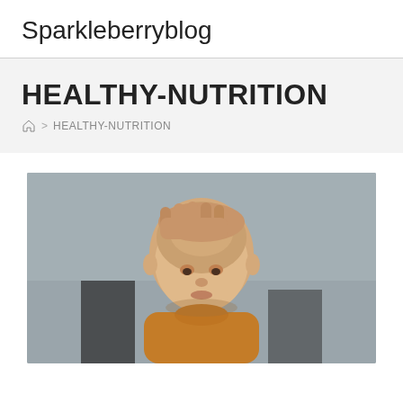Sparkleberryblog
HEALTHY-NUTRITION
Home > HEALTHY-NUTRITION
[Figure (photo): A baby with a shaved head wearing an orange/mustard outfit, being held by an adult hand on the baby's head, looking downward. Grey background.]